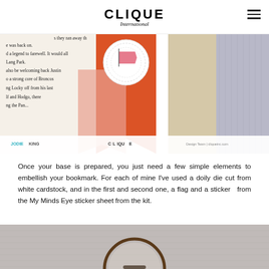CLIQUE International
[Figure (photo): Close-up photo of a book open with text visible, with an orange/red bookmark and a white doily die cut, decorative flag and sticker on top. Beige and grey knitted fabric visible on right side. Photo credit: JODIE KING, Design Team cliqueinc.com]
Once your base is prepared, you just need a few simple elements to embellish your bookmark. For each of mine I've used a doily die cut from white cardstock, and in the first and second one, a flag and a sticker from the My Minds Eye sticker sheet from the kit.
[Figure (photo): Partial photo at the bottom showing a circular/glass object (possibly glasses or magnifier) on a grey knitted background, partially cropped.]